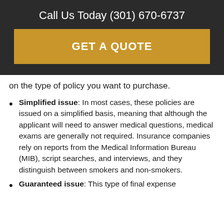Call Us Today (301) 670-6737
GET A QUOTE
on the type of policy you want to purchase.
Simplified issue: In most cases, these policies are issued on a simplified basis, meaning that although the applicant will need to answer medical questions, medical exams are generally not required. Insurance companies rely on reports from the Medical Information Bureau (MIB), script searches, and interviews, and they distinguish between smokers and non-smokers.
Guaranteed issue: This type of final expense